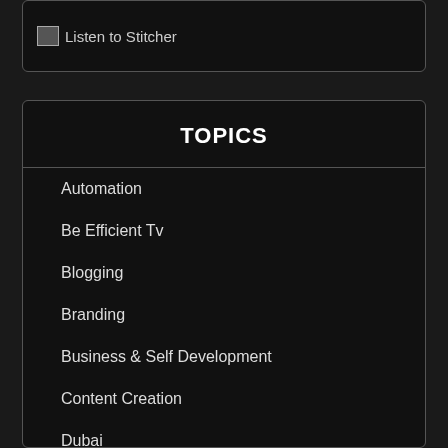[Figure (screenshot): Listen to Stitcher button/image with broken image icon and alt text]
TOPICS
Automation
Be Efficient Tv
Blogging
Branding
Business & Self Development
Content Creation
Dubai
Efficiency & Productivity
Employement
Entreprenuership
Fun
Goals
Great Movies